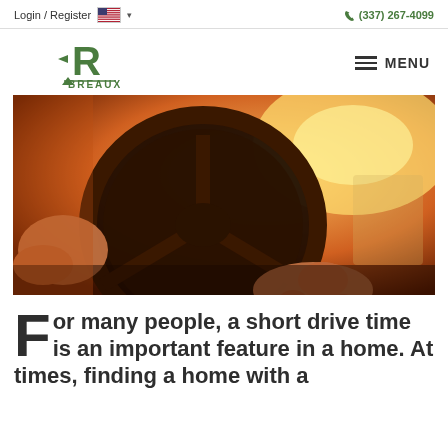Login / Register   (337) 267-4099
[Figure (logo): Breaux real estate company logo with stylized green R and BREAUX text]
[Figure (photo): Close-up photo of a person's hands gripping a car steering wheel with warm sunlight in the background]
For many people, a short drive time is an important feature in a home. At times, finding a home with a